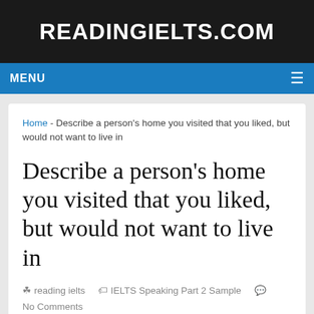READINGIELTS.COM
MENU
Home - Describe a person's home you visited that you liked, but would not want to live in
Describe a person's home you visited that you liked, but would not want to live in
reading ielts   IELTS Speaking Part 2 Sample   No Comments